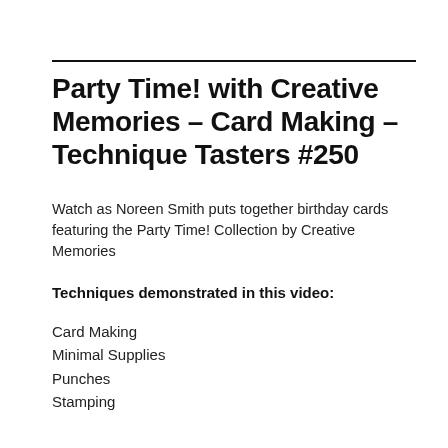Party Time! with Creative Memories – Card Making – Technique Tasters #250
Watch as Noreen Smith puts together birthday cards featuring the Party Time! Collection by Creative Memories
Techniques demonstrated in this video:
Card Making
Minimal Supplies
Punches
Stamping